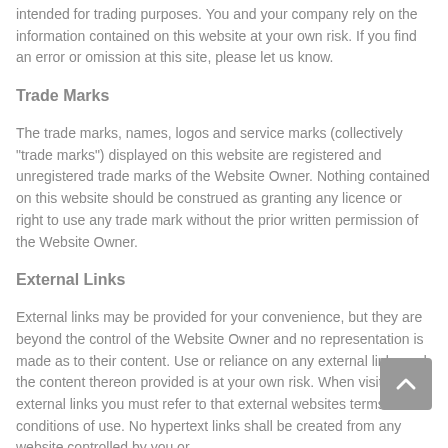intended for trading purposes. You and your company rely on the information contained on this website at your own risk. If you find an error or omission at this site, please let us know.
Trade Marks
The trade marks, names, logos and service marks (collectively “trade marks”) displayed on this website are registered and unregistered trade marks of the Website Owner. Nothing contained on this website should be construed as granting any licence or right to use any trade mark without the prior written permission of the Website Owner.
External Links
External links may be provided for your convenience, but they are beyond the control of the Website Owner and no representation is made as to their content. Use or reliance on any external links and the content thereon provided is at your own risk. When visiting external links you must refer to that external websites terms and conditions of use. No hypertext links shall be created from any website controlled by you or